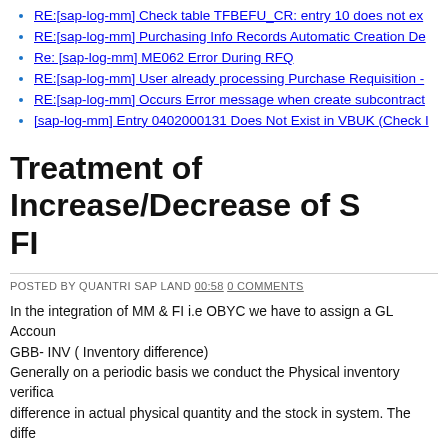RE:[sap-log-mm] Check table TFBEFU_CR: entry 10 does not ex...
RE:[sap-log-mm] Purchasing Info Records Automatic Creation De...
Re: [sap-log-mm] ME062 Error During RFQ
RE:[sap-log-mm] User already processing Purchase Requisition -...
RE:[sap-log-mm] Occurs Error message when create subcontract...
[sap-log-mm] Entry 0402000131 Does Not Exist in VBUK (Check I...
Treatment of Increase/Decrease of S... FI
POSTED BY QUANTRI SAP LAND 00:58 0 COMMENTS
In the integration of MM & FI i.e OBYC we have to assign a GL Accoun... GBB- INV ( Inventory difference) Generally on a periodic basis we conduct the Physical inventory verifica... difference in actual physical quantity and the stock in system. The diffe... decrease in stock.
Step 1:In SAP we have to create a Physical inventory document for al...